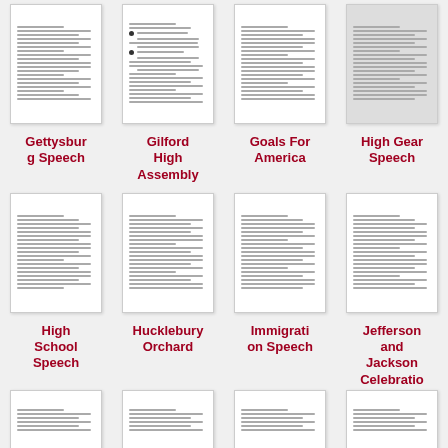[Figure (screenshot): Thumbnail of Gettysburg Speech document]
[Figure (screenshot): Thumbnail of Gilford High Assembly document]
[Figure (screenshot): Thumbnail of Goals For America document]
[Figure (screenshot): Thumbnail of High Gear Speech document]
Gettysburg Speech
Gilford High Assembly
Goals For America
High Gear Speech
[Figure (screenshot): Thumbnail of High School Speech document]
[Figure (screenshot): Thumbnail of Hucklebury Orchard document]
[Figure (screenshot): Thumbnail of Immigration Speech document]
[Figure (screenshot): Thumbnail of Jefferson and Jackson Celebration document]
High School Speech
Hucklebury Orchard
Immigration Speech
Jefferson and Jackson Celebration
[Figure (screenshot): Partial thumbnail bottom left]
[Figure (screenshot): Partial thumbnail bottom center-left]
[Figure (screenshot): Partial thumbnail bottom center-right]
[Figure (screenshot): Partial thumbnail bottom right]